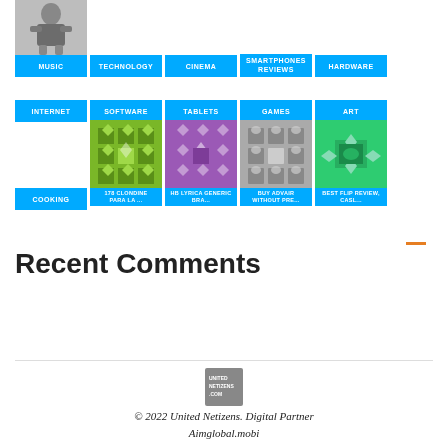[Figure (screenshot): Navigation category buttons row: MUSIC (with photo), TECHNOLOGY, CINEMA, SMARTPHONES REVIEWS, HARDWARE]
[Figure (screenshot): Navigation category buttons row: INTERNET, SOFTWARE, TABLETS, GAMES, ART]
[Figure (screenshot): Article thumbnails: COOKING, 178 CLONDINE PARA LA..., HB LYRICA GENERIC BRA..., BUY ADVAIR WITHOUT PRE..., BEST FLIP REVIEW, CASL...]
Recent Comments
[Figure (logo): United Netizens logo]
© 2022 United Netizens. Digital Partner Aimglobal.mobi